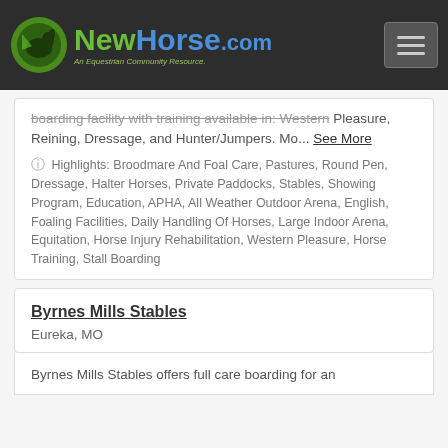NewHorse.com — An Equestrian Community Resource
boarding facility with training available in: Western Pleasure, Reining, Dressage, and Hunter/Jumpers. Mo... See More
Highlights: Broodmare And Foal Care, Pastures, Round Pen, Dressage, Halter Horses, Private Paddocks, Stables, Showing Program, Education, APHA, All Weather Outdoor Arena, English, Foaling Facilities, Daily Handling Of Horses, Large Indoor Arena, Equitation, Horse Injury Rehabilitation, Western Pleasure, Horse Training, Stall Boarding
Byrnes Mills Stables
Eureka, MO
Byrnes Mills Stables offers full care boarding for an